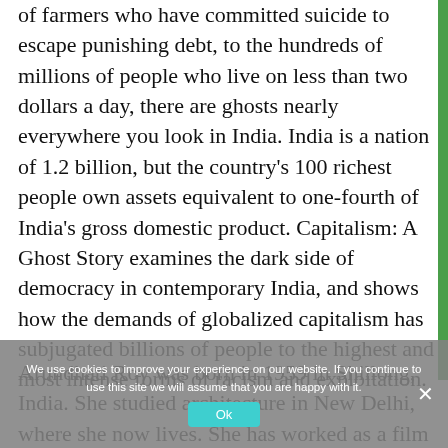of farmers who have committed suicide to escape punishing debt, to the hundreds of millions of people who live on less than two dollars a day, there are ghosts nearly everywhere you look in India. India is a nation of 1.2 billion, but the country's 100 richest people own assets equivalent to one-fourth of India's gross domestic product. Capitalism: A Ghost Story examines the dark side of democracy in contemporary India, and shows how the demands of globalized capitalism has subjugated billions of people to the highest and most intense forms of racism and exploitation.
Arundhati Roy was born in 1959 in Shillong, India. She studied architecture in New Delhi, where she now lives. She has worked as a film designer and screenplay writer in India. Roy is the author of the novel The God of Small